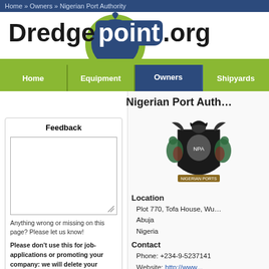Home » Owners » Nigerian Port Authority
[Figure (logo): Dredgepoint.org logo with blue teardrop/circle shape and green bar]
Home | Equipment | Owners | Shipyards
Nigerian Port Authority
Feedback
Anything wrong or missing on this page? Please let us know!
Please don't use this for job-applications or promoting your company: we will delete your messages
[Figure (logo): Nigerian Port Authority coat of arms / crest]
Location
Plot 770, Tofa House, Wuse
Abuja
Nigeria
Contact
Phone: +234-9-5237141
Website: http://www...